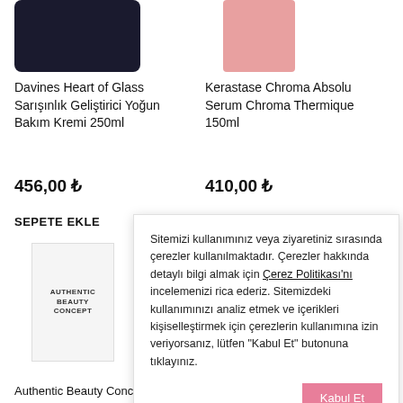[Figure (photo): Davines Heart of Glass product with dark container, partially cropped at top]
Davines Heart of Glass Sarışınlık Geliştirici Yoğun Bakım Kremi 250ml
456,00 ₺
SEPETE EKLE
[Figure (photo): Kerastase Chroma Absolu pink bottle, partially cropped at top]
Kerastase Chroma Absolu Serum Chroma Thermique 150ml
410,00 ₺
SEPETE EKLE
[Figure (photo): Authentic Beauty Concept white bottle product]
Sitemizi kullanımınız veya ziyaretiniz sırasında çerezler kullanılmaktadır. Çerezler hakkında detaylı bilgi almak için Çerez Politikası'nı incelemenizi rica ederiz. Sitemizdeki kullanımınızı analiz etmek ve içerikleri kişiselleştirmek için çerezlerin kullanımına izin veriyorsanız, lütfen "Kabul Et" butonuna tıklayınız.
Authentic Beauty Concept –
Authentic Beauty Concept –